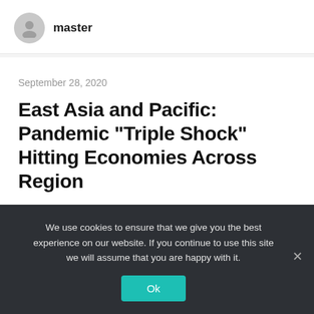master
September 28, 2020
East Asia and Pacific: Pandemic “Triple Shock” Hitting Economies Across Region
COVID-19 has delivered a triple shock to the developing East Asia and Pacific (EAP) region: the pandemic itself, the economic
We use cookies to ensure that we give you the best experience on our website. If you continue to use this site we will assume that you are happy with it.